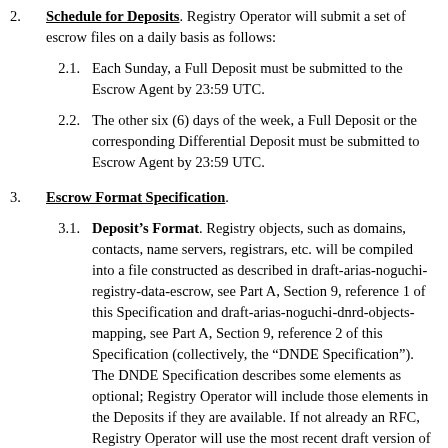2. Schedule for Deposits. Registry Operator will submit a set of escrow files on a daily basis as follows:
2.1. Each Sunday, a Full Deposit must be submitted to the Escrow Agent by 23:59 UTC.
2.2. The other six (6) days of the week, a Full Deposit or the corresponding Differential Deposit must be submitted to Escrow Agent by 23:59 UTC.
3. Escrow Format Specification.
3.1. Deposit’s Format. Registry objects, such as domains, contacts, name servers, registrars, etc. will be compiled into a file constructed as described in draft-arias-noguchi-registry-data-escrow, see Part A, Section 9, reference 1 of this Specification and draft-arias-noguchi-dnrd-objects-mapping, see Part A, Section 9, reference 2 of this Specification (collectively, the “DNDE Specification”). The DNDE Specification describes some elements as optional; Registry Operator will include those elements in the Deposits if they are available. If not already an RFC, Registry Operator will use the most recent draft version of the DNDE Specification available at the Effective Date.